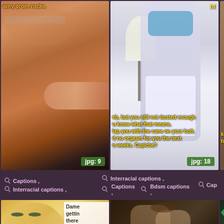[Figure (photo): Close-up of woman with glasses near male genitalia, warm brown tones, jpg badge showing 9]
Captions , Interracial captions ,
[Figure (photo): Woman in white tight pants from behind, bright room with lamp, overlay text about cane punishment and orgasm denial, jpg badge showing 18]
Interracial captions , Captions , Bdsm captions ,
[Figure (photo): Partial right-edge photo, keep f... huge m... text visible]
Cap...
[Figure (photo): Blonde woman smiling, with overlay text: Dame getting there for on...]
[Figure (photo): Two women in dark scene, one grabbing other's hair]
[Figure (photo): Green-toned scene with jewelry/gems]